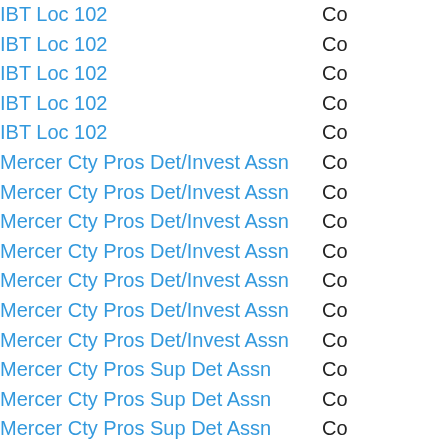| Name | Type |
| --- | --- |
| IBT Loc 102 | Co |
| IBT Loc 102 | Co |
| IBT Loc 102 | Co |
| IBT Loc 102 | Co |
| IBT Loc 102 | Co |
| Mercer Cty Pros Det/Invest Assn | Co |
| Mercer Cty Pros Det/Invest Assn | Co |
| Mercer Cty Pros Det/Invest Assn | Co |
| Mercer Cty Pros Det/Invest Assn | Co |
| Mercer Cty Pros Det/Invest Assn | Co |
| Mercer Cty Pros Det/Invest Assn | Co |
| Mercer Cty Pros Det/Invest Assn | Co |
| Mercer Cty Pros Sup Det Assn | Co |
| Mercer Cty Pros Sup Det Assn | Co |
| Mercer Cty Pros Sup Det Assn | Co |
| Mercer Cty Pros Sup Det Assn | Co |
| Mercer Cty Pros Sup Det Assn | Co |
| Mercer Cty Pros Sup Det Assn | Co |
| Mercer Cty Pros Sup Det Assn | Co |
| Mercer Cty Pros Sup Det Assn | Co |
| Mercer Cty Pros Sup Offrs Unit | Co |